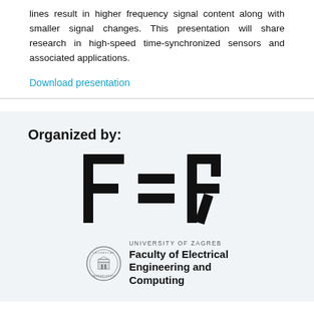lines result in higher frequency signal content along with smaller signal changes. This presentation will share research in high-speed time-synchronized sensors and associated applications.
Download presentation
Organized by:
[Figure (logo): FER logo — large stylized letters F, E, R in bold black geometric shapes, with 'UNIVERSITY OF ZAGREB' text and Faculty of Electrical Engineering and Computing wordmark with circular seal]